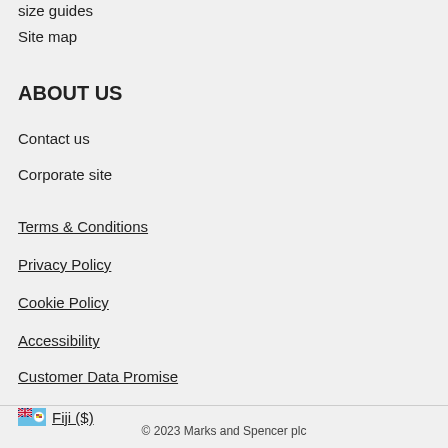size guides
Site map
ABOUT US
Contact us
Corporate site
Terms & Conditions
Privacy Policy
Cookie Policy
Accessibility
Customer Data Promise
Fiji ($)
© 2023 Marks and Spencer plc